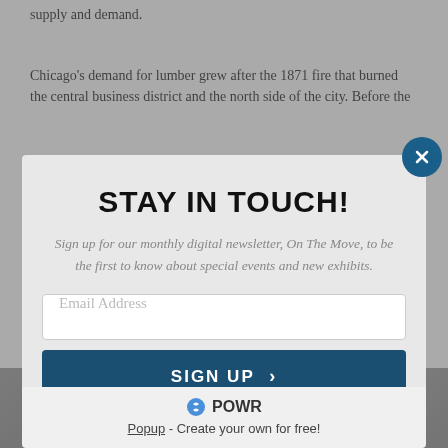supply and demand.
Chicago’s demand for lumber grew after the 1871 fire that burned the central business district and the north side of the city. Before the
STAY IN TOUCH!
Sign up for our monthly digital newsletter, On The Move, to be the first to know about special events and new exhibits.
Email Address
SIGN UP  >
🔌 POWR
Popup - Create your own for free!